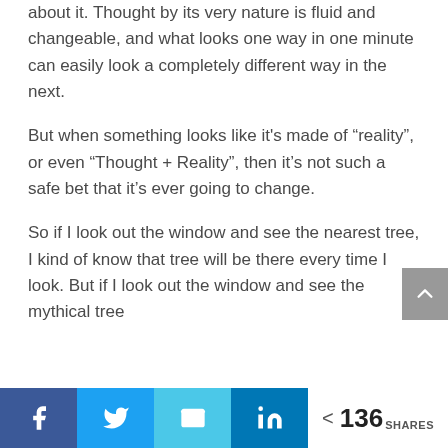about it. Thought by its very nature is fluid and changeable, and what looks one way in one minute can easily look a completely different way in the next.
But when something looks like it's made of “reality”, or even “Thought + Reality”, then it’s not such a safe bet that it’s ever going to change.
So if I look out the window and see the nearest tree, I kind of know that tree will be there every time I look. But if I look out the window and see the mythical tree